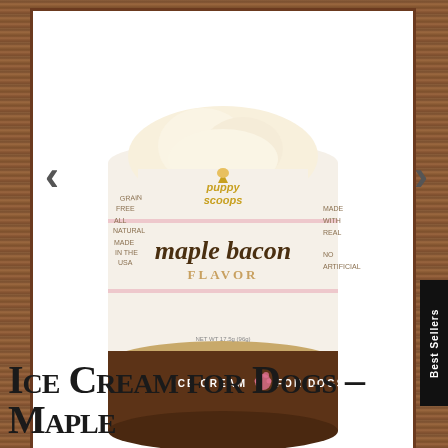[Figure (photo): Puppy Scoops ice cream mix container, maple bacon flavor, with 'ICE CREAM MIX FOR DOGS' text on brown band at bottom, and 'puppy scoops' logo at top. White background with wood-panel framing.]
[Figure (photo): Thumbnail of the Puppy Scoops container product shot]
[Figure (photo): Thumbnail showing dogs eating from Puppy Scoops cups]
Ice Cream for Dogs - Maple